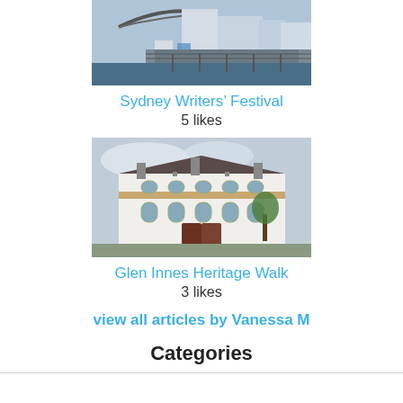[Figure (photo): Photo of Sydney Harbour waterfront with harbour bridge visible in background, crowds of people along a pier]
Sydney Writers' Festival
5 likes
[Figure (photo): Photo of a heritage Victorian-era white building with ornate facade, Glen Innes Heritage Walk]
Glen Innes Heritage Walk
3 likes
view all articles by Vanessa M
Categories